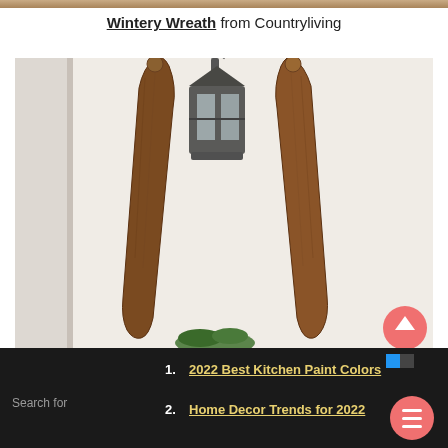[Figure (photo): Top strip of an image partially visible at the top of the page]
Wintery Wreath from Countryliving
[Figure (photo): Photo of two vintage wooden skis leaning against a white wall beside a metal outdoor lantern, with some greenery at the base]
1. 2022 Best Kitchen Paint Colors
2. Home Decor Trends for 2022